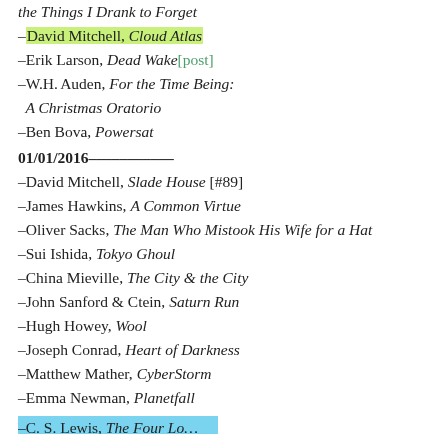the Things I Drank to Forget
– David Mitchell, Cloud Atlas
– Erik Larson, Dead Wake[post]
– W.H. Auden, For the Time Being: A Christmas Oratorio
– Ben Bova, Powersat
01/01/2016
– David Mitchell, Slade House [#89]
– James Hawkins, A Common Virtue
– Oliver Sacks, The Man Who Mistook His Wife for a Hat
– Sui Ishida, Tokyo Ghoul
– China Mieville, The City & the City
– John Sanford & Ctein, Saturn Run
– Hugh Howey, Wool
– Joseph Conrad, Heart of Darkness
– Matthew Mather, CyberStorm
– Emma Newman, Planetfall
– Connie Willis, All Clear
– C. S. Lewis, The Four Loves